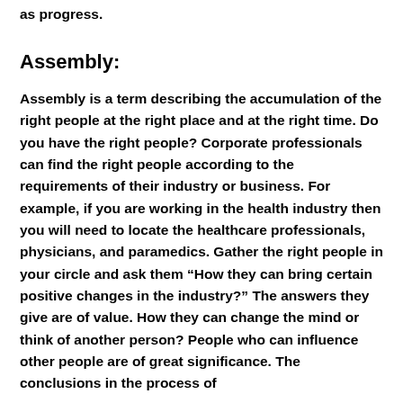as progress.
Assembly:
Assembly is a term describing the accumulation of the right people at the right place and at the right time. Do you have the right people? Corporate professionals can find the right people according to the requirements of their industry or business. For example, if you are working in the health industry then you will need to locate the healthcare professionals, physicians, and paramedics. Gather the right people in your circle and ask them “How they can bring certain positive changes in the industry?” The answers they give are of value. How they can change the mind or think of another person? People who can influence other people are of great significance. The conclusions in the process of